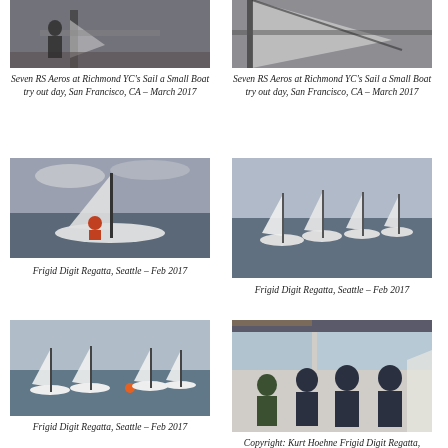[Figure (photo): Sailing boat on dock, partial view cut at top - Seven RS Aeros at Richmond YC]
Seven RS Aeros at Richmond YC's Sail a Small Boat try out day, San Francisco, CA - March 2017
[Figure (photo): Sailing boat close-up partial view cut at top - Seven RS Aeros at Richmond YC]
Seven RS Aeros at Richmond YC's Sail a Small Boat try out day, San Francisco, CA - March 2017
[Figure (photo): Single sailboat on water under cloudy sky - Frigid Digit Regatta Seattle]
Frigid Digit Regatta, Seattle - Feb 2017
[Figure (photo): Multiple sailboats racing on water - Frigid Digit Regatta Seattle]
Frigid Digit Regatta, Seattle - Feb 2017
[Figure (photo): Multiple sailboats racing on water with orange mark - Frigid Digit Regatta Seattle]
Frigid Digit Regatta, Seattle - Feb 2017
[Figure (photo): Group of people inside a building - RS Aero winners at Frigid Digit Regatta]
Copyright: Kurt Hoehne Frigid Digit Regatta, Seattle. The RS Aero winners, left to right, Dan Falk, Jay Renehan